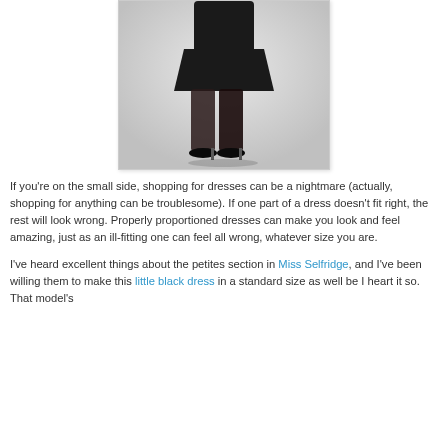[Figure (photo): A model wearing a little black dress with black sheer tights and black heels, photographed from waist down against a light grey background.]
If you're on the small side, shopping for dresses can be a nightmare (actually, shopping for anything can be troublesome). If one part of a dress doesn't fit right, the rest will look wrong. Properly proportioned dresses can make you look and feel amazing, just as an ill-fitting one can feel all wrong, whatever size you are.
I've heard excellent things about the petites section in Miss Selfridge, and I've been willing them to make this little black dress in a standard size as well be I heart it so. That model's